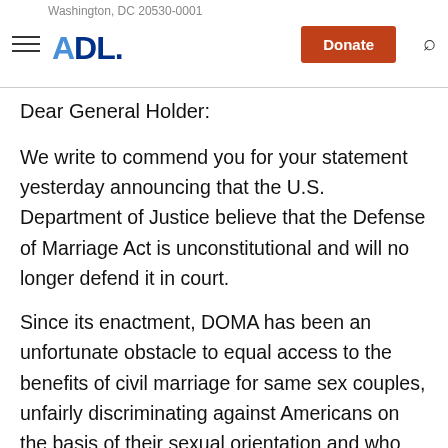Washington, DC 20530-0001
Dear General Holder:
We write to commend you for your statement yesterday announcing that the U.S. Department of Justice believe that the Defense of Marriage Act is unconstitutional and will no longer defend it in court.
Since its enactment, DOMA has been an unfortunate obstacle to equal access to the benefits of civil marriage for same sex couples, unfairly discriminating against Americans on the basis of their sexual orientation and who they wish